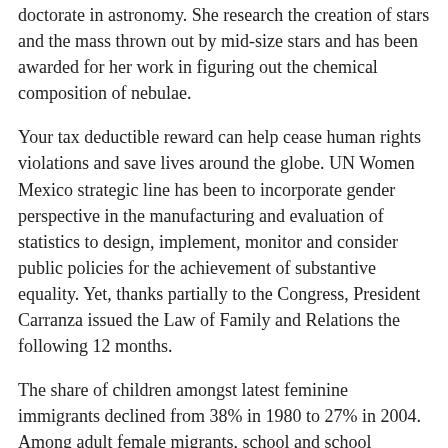doctorate in astronomy. She research the creation of stars and the mass thrown out by mid-size stars and has been awarded for her work in figuring out the chemical composition of nebulae.
Your tax deductible reward can help cease human rights violations and save lives around the globe. UN Women Mexico strategic line has been to incorporate gender perspective in the manufacturing and evaluation of statistics to design, implement, monitor and consider public policies for the achievement of substantive equality. Yet, thanks partially to the Congress, President Carranza issued the Law of Family and Relations the following 12 months.
The share of children amongst latest feminine immigrants declined from 38% in 1980 to 27% in 2004. Among adult female migrants, school and school enrollment additionally increased, rising from about 13% among newly-arrived females age 18 and older in 1980 to 17% by 2000. Indigenous women’s rights concerned the same points as non-indigenous ladies such as poverty, family-planning, rurality, violence, workers’ rights and lack of political representation.
“We are speaking about human rights, and women need to decide about their our bodies. It just isn’t a call that ought to be determined by a popular vote,” mentioned Rebeca Ramos, the director of GIRE. The